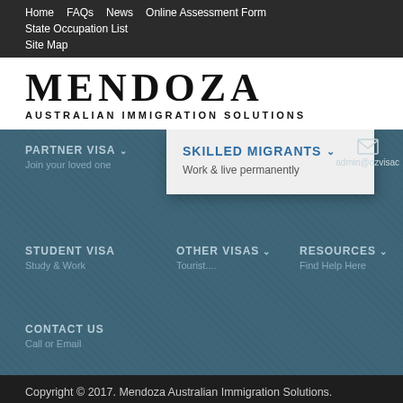Home  FAQs  News  Online Assessment Form  State Occupation List  Site Map
[Figure (logo): Mendoza Australian Immigration Solutions logo with large serif text MENDOZA and subtitle AUSTRALIAN IMMIGRATION SOLUTIONS]
PARTNER VISA - Join your loved one
SKILLED MIGRANTS - Work & live permanently
admin@ozvisac
STUDENT VISA - Study & Work
OTHER VISAS - Tourist....
RESOURCES - Find Help Here
CONTACT US - Call or Email
Copyright © 2017. Mendoza Australian Immigration Solutions. Designed by Zippin Website Designers & Consultants. Check us
Mobile Version
Email us